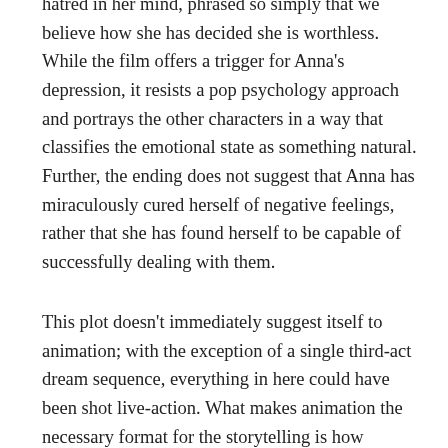hatred in her mind, phrased so simply that we believe how she has decided she is worthless. While the film offers a trigger for Anna's depression, it resists a pop psychology approach and portrays the other characters in a way that classifies the emotional state as something natural. Further, the ending does not suggest that Anna has miraculously cured herself of negative feelings, rather that she has found herself to be capable of successfully dealing with them.
This plot doesn't immediately suggest itself to animation; with the exception of a single third-act dream sequence, everything in here could have been shot live-action. What makes animation the necessary format for the storytelling is how Yonebayashi and his crew use it to reflect Anna's giant-sized imagination and moods. The film reflects the grand scale of her mental state with lavish settings, carefully-used